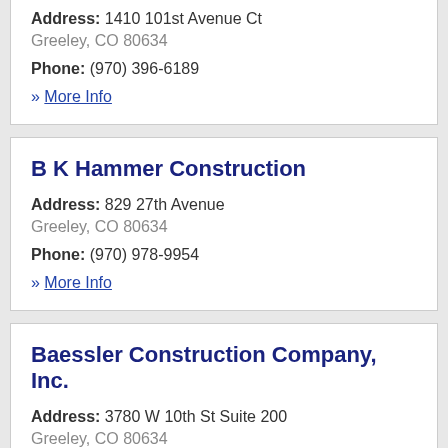Address: 1410 101st Avenue Ct Greeley, CO 80634
Phone: (970) 396-6189
» More Info
B K Hammer Construction
Address: 829 27th Avenue Greeley, CO 80634
Phone: (970) 978-9954
» More Info
Baessler Construction Company, Inc.
Address: 3780 W 10th St Suite 200 Greeley, CO 80634